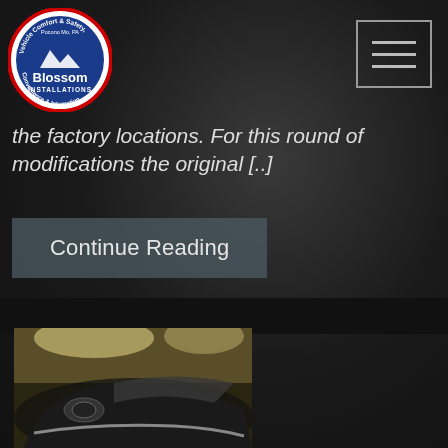[Figure (logo): Blossom Installations logo — circular badge with blue background, red border, mountain graphic, text 'Vehicle Comfort & Safety', 'Pocono Mo, PA', 'Convenience & Integration']
[Figure (other): Hamburger menu icon — three horizontal lines in a rectangular border]
the factory locations. For this round of modifications the original [..]
Continue Reading
[Figure (photo): Black SUV/truck photographed from front-left angle inside a garage with bright overhead lighting]